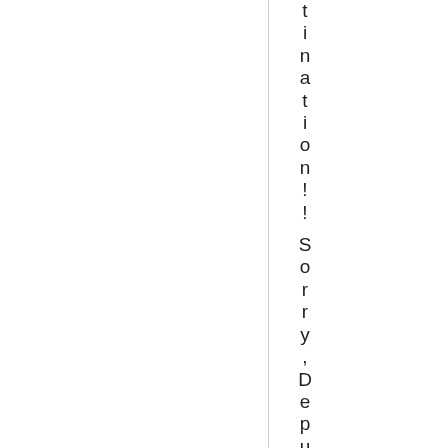tination!! Sorry,DeputyRandy...b